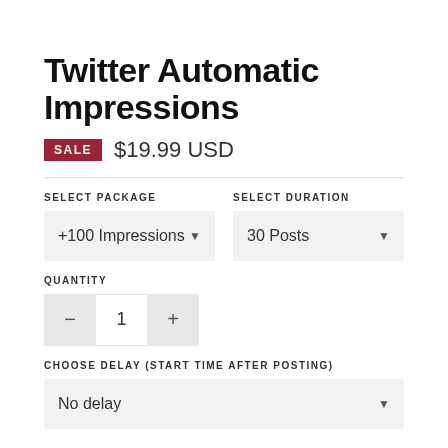Twitter Automatic Impressions
SALE  $19.99 USD
SELECT PACKAGE
SELECT DURATION
+100 Impressions
30 Posts
QUANTITY
1
CHOOSE DELAY (START TIME AFTER POSTING)
No delay
ENTER TWITTER PROFILE URL